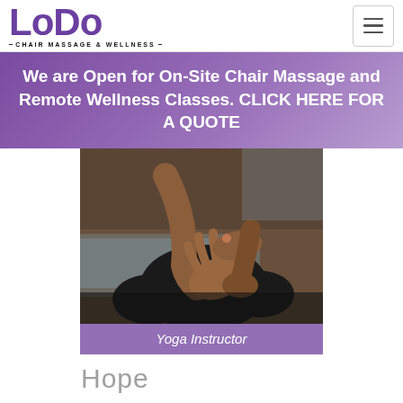[Figure (logo): LoDo Chair Massage & Wellness logo with purple serif text]
We are Open for On-Site Chair Massage and Remote Wellness Classes. CLICK HERE FOR A QUOTE
[Figure (photo): Close-up photo of a person sitting in yoga meditation pose, hands in mudra position, dark clothing, blurred background]
Yoga Instructor
Hope